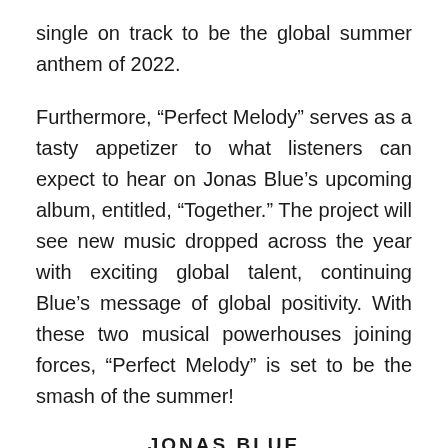single on track to be the global summer anthem of 2022.

Furthermore, “Perfect Melody” serves as a tasty appetizer to what listeners can expect to hear on Jonas Blue’s upcoming album, entitled, “Together.” The project will see new music dropped across the year with exciting global talent, continuing Blue’s message of global positivity. With these two musical powerhouses joining forces, “Perfect Melody” is set to be the smash of the summer!
JONAS BLUE